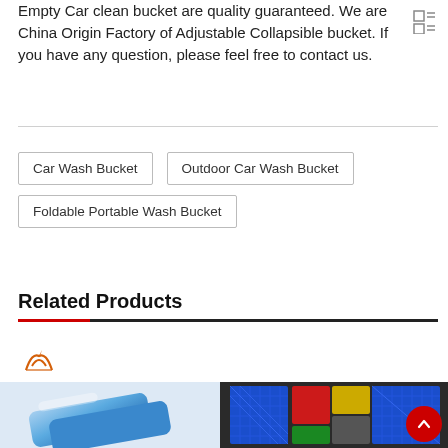Empty Car clean bucket are quality guaranteed. We are China Origin Factory of Adjustable Collapsible bucket. If you have any question, please feel free to contact us.
Car Wash Bucket
Outdoor Car Wash Bucket
Foldable Portable Wash Bucket
Related Products
[Figure (logo): Orange/red stylized auto logo with text AUTO below]
[Figure (photo): Blue clay bar / detailing clay product on left side]
[Figure (photo): Colorful interlocking floor/garage mat tiles in multiple colors (blue, red, green, yellow, grey) on right side]